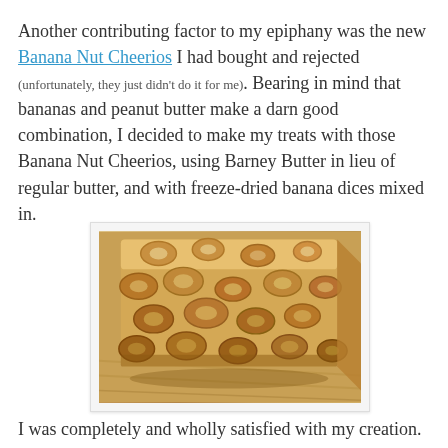Another contributing factor to my epiphany was the new Banana Nut Cheerios I had bought and rejected (unfortunately, they just didn't do it for me). Bearing in mind that bananas and peanut butter make a darn good combination, I decided to make my treats with those Banana Nut Cheerios, using Barney Butter in lieu of regular butter, and with freeze-dried banana dices mixed in.
[Figure (photo): Close-up photo of a Cheerios treat bar made with Banana Nut Cheerios, showing the porous texture of cereal pieces bound together, placed on a wooden surface.]
I was completely and wholly satisfied with my creation. There